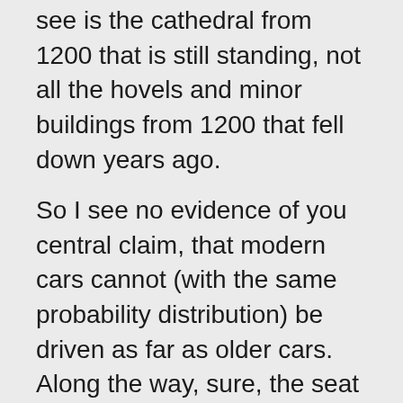see is the cathedral from 1200 that is still standing, not all the hovels and minor buildings from 1200 that fell down years ago.
So I see no evidence of you central claim, that modern cars cannot (with the same probability distribution) be driven as far as older cars. Along the way, sure, the seat motors and sunroof may die — but you said you don't care about those, so you're no worse off when they die.
Meanwhile, strange as it may be to imagine, it turns out that lots of people DO like those things. I've been in cheap (but I imagine